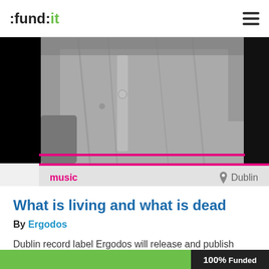:fund:it
[Figure (photo): Black and white close-up photo of a person's torso wearing a casual shirt with arms crossed, against a blurred background]
music
Dublin
What is living and what is dead
By Ergodos
Dublin record label Ergodos will release and publish “What is living and what is dead”, a piano suite in nine parts by composer Simon O’Connor
100% Funded